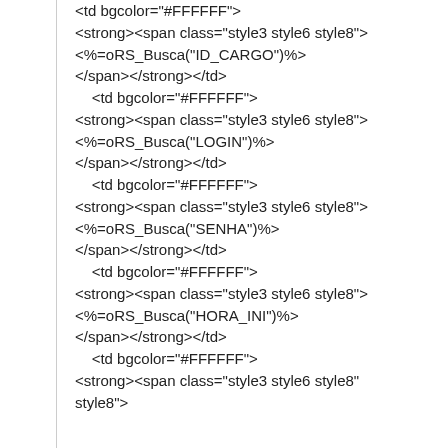<td bgcolor="#FFFFFF">
<strong><span class="style3 style6 style8">
<%=oRS_Busca("ID_CARGO")%>
</span></strong></td>
    <td bgcolor="#FFFFFF">
<strong><span class="style3 style6 style8">
<%=oRS_Busca("LOGIN")%>
</span></strong></td>
    <td bgcolor="#FFFFFF">
<strong><span class="style3 style6 style8">
<%=oRS_Busca("SENHA")%>
</span></strong></td>
    <td bgcolor="#FFFFFF">
<strong><span class="style3 style6 style8">
<%=oRS_Busca("HORA_INI")%>
</span></strong></td>
    <td bgcolor="#FFFFFF">
<strong><span class="style3 style6 style8">
style8">